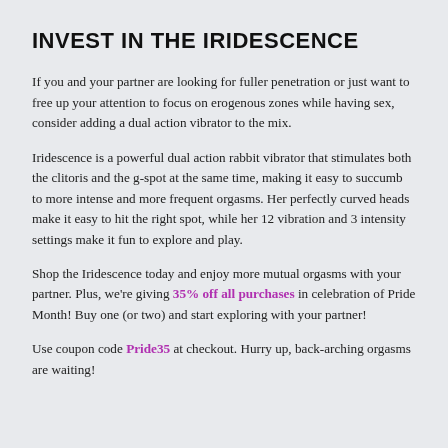INVEST IN THE IRIDESCENCE
If you and your partner are looking for fuller penetration or just want to free up your attention to focus on erogenous zones while having sex, consider adding a dual action vibrator to the mix.
Iridescence is a powerful dual action rabbit vibrator that stimulates both the clitoris and the g-spot at the same time, making it easy to succumb to more intense and more frequent orgasms. Her perfectly curved heads make it easy to hit the right spot, while her 12 vibration and 3 intensity settings make it fun to explore and play.
Shop the Iridescence today and enjoy more mutual orgasms with your partner. Plus, we're giving 35% off all purchases in celebration of Pride Month! Buy one (or two) and start exploring with your partner!
Use coupon code Pride35 at checkout. Hurry up, back-arching orgasms are waiting!